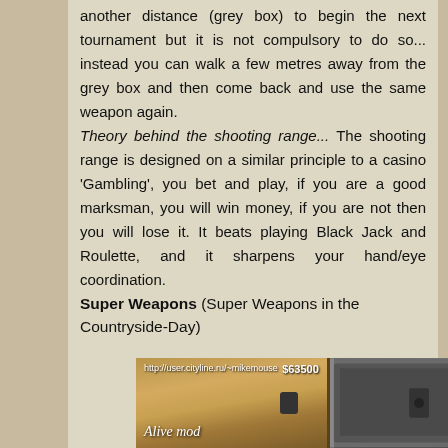another distance (grey box) to begin the next tournament but it is not compulsory to do so... instead you can walk a few metres away from the grey box and then come back and use the same weapon again.
Theory behind the shooting range... The shooting range is designed on a similar principle to a casino 'Gambling', you bet and play, if you are a good marksman, you will win money, if you are not then you will lose it. It beats playing Black Jack and Roulette, and it sharpens your hand/eye coordination.
Super Weapons (Super Weapons in the Countryside-Day)
[Figure (photo): Photo of a wooden gun cabinet/safe with metal door on the right side. Text overlay shows URL http://user.cityline.ru/~mikemouse, 'Alive mod' label, and price $63500.]